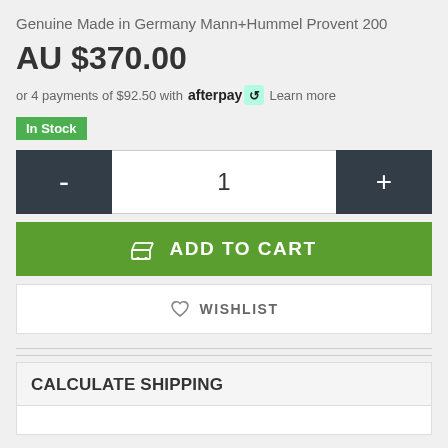Genuine Made in Germany Mann+Hummel Provent 200
AU $370.00
or 4 payments of $92.50 with afterpay Learn more
In Stock
1
ADD TO CART
WISHLIST
CALCULATE SHIPPING